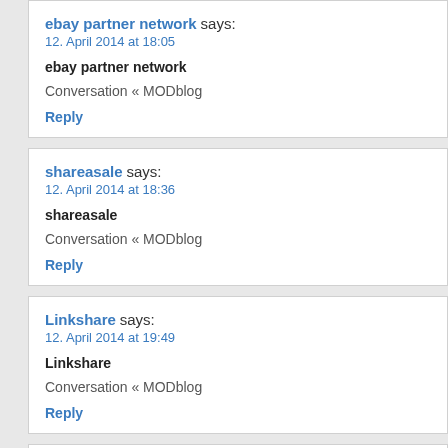ebay partner network says:
12. April 2014 at 18:05
ebay partner network
Conversation « MODblog
Reply
shareasale says:
12. April 2014 at 18:36
shareasale
Conversation « MODblog
Reply
Linkshare says:
12. April 2014 at 19:49
Linkshare
Conversation « MODblog
Reply
lOffer says:
13. April 2014 at 05:54